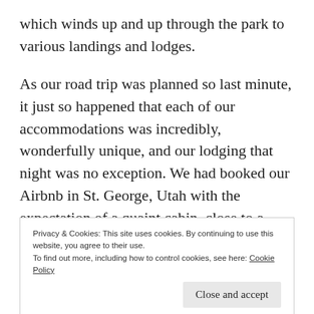which winds up and up through the park to various landings and lodges.
As our road trip was planned so last minute, it just so happened that each of our accommodations was incredibly, wonderfully unique, and our lodging that night was no exception. We had booked our Airbnb in St. George, Utah with the expectation of a quaint cabin, close to a lake, in a ranch-like resort development that included about ten cabins in total. What we found when we arrived via a winding, dusty, eerily quiet and empty country road that night was our two-story cabin, cozy and gleamingly
Privacy & Cookies: This site uses cookies. By continuing to use this website, you agree to their use.
To find out more, including how to control cookies, see here: Cookie Policy
disbelievingly, came to the realization that we were